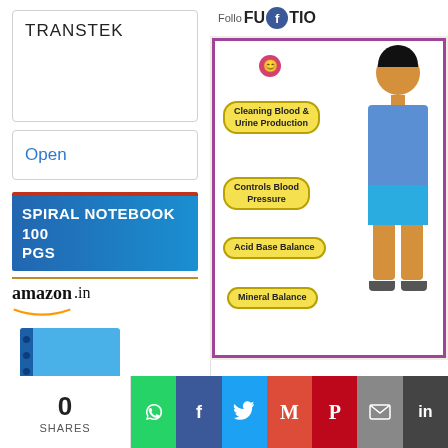TRANSTEK
Open
[Figure (screenshot): Amazon.in advertisement for Spiral Notebook 100 PGS with blue notebook image]
[Figure (photo): Educational chart showing kidney functions: Cleaning Blood & Urine Production, Controls Blood Pressure, Acid Base Balance, Mineral Balance. Shows a figure of a child with labels attached.]
0 SHARES
[Figure (screenshot): Social sharing bar with WhatsApp, Facebook, Twitter, Gmail, Pinterest, Email, LinkedIn buttons]